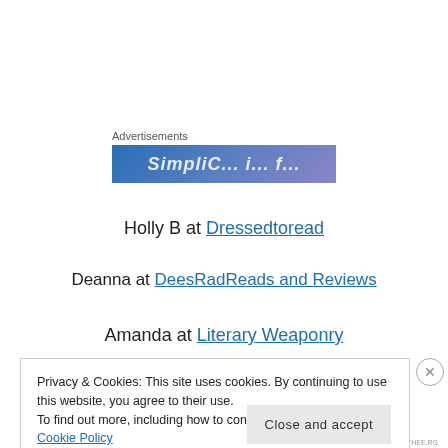Advertisements
[Figure (illustration): Blue-purple gradient advertisement banner with italic bold white text partially visible]
Holly B at Dressedtoread
Deanna at DeesRadReads and Reviews
Amanda at Literary Weaponry
Privacy & Cookies: This site uses cookies. By continuing to use this website, you agree to their use.
To find out more, including how to control cookies, see here: Cookie Policy
Close and accept